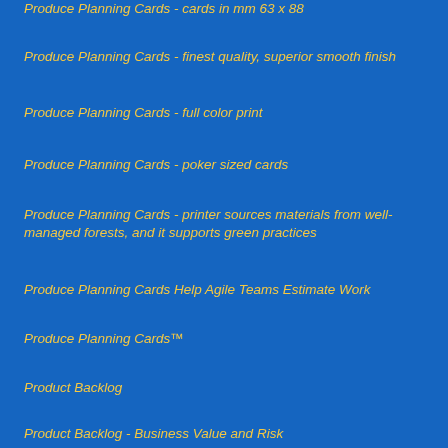Produce Planning Cards - cards in mm 63 x 88
Produce Planning Cards - finest quality, superior smooth finish
Produce Planning Cards - full color print
Produce Planning Cards - poker sized cards
Produce Planning Cards - printer sources materials from well-managed forests, and it supports green practices
Produce Planning Cards Help Agile Teams Estimate Work
Produce Planning Cards™
Product Backlog
Product Backlog - Business Value and Risk